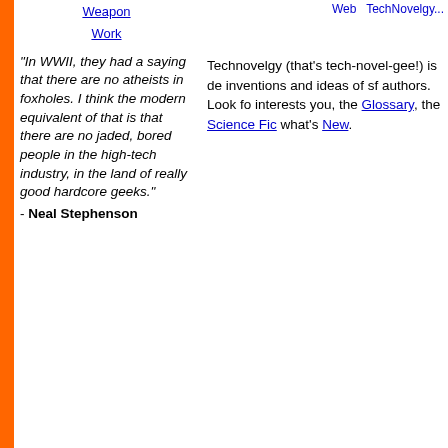Web  TechNovelgy...
Weapon
Work
"In WWII, they had a saying that there are no atheists in foxholes. I think the modern equivalent of that is that there are no jaded, bored people in the high-tech industry, in the land of really good hardcore geeks."
- Neal Stephenson
Technovelgy (that's tech-novel-gee!) is devoted to the inventions and ideas of sf authors. Look for what interests you, the Glossary, the Science Fic... what's New.